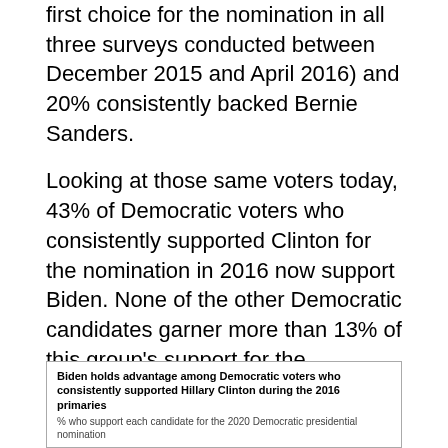first choice for the nomination in all three surveys conducted between December 2015 and April 2016) and 20% consistently backed Bernie Sanders.
Looking at those same voters today, 43% of Democratic voters who consistently supported Clinton for the nomination in 2016 now support Biden. None of the other Democratic candidates garner more than 13% of this group's support for the nomination.
Among those who consistently supported Sanders in 2016, 44% favor him for the nomination today, while 25% support Warren.
And among the larger share of Democrats whose preferences were less consistent in late 2015 and early 2016, a third now support Biden, while 17% favor Warren and 13% back Sanders.
[Figure (other): Chart box with title: Biden holds advantage among Democratic voters who consistently supported Hillary Clinton during the 2016 primaries]